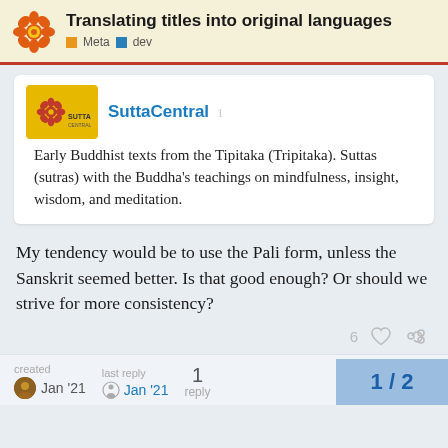Translating titles into original languages | Meta | dev
[Figure (screenshot): SuttaCentral website preview card showing early Buddhist texts description]
Early Buddhist texts from the Tipitaka (Tripitaka). Suttas (sutras) with the Buddha's teachings on mindfulness, insight, wisdom, and meditation.
My tendency would be to use the Pali form, unless the Sanskrit seemed better. Is that good enough? Or should we strive for more consistency?
created Jan '21 | last reply Jan '21 | 1 reply | 1 / 2